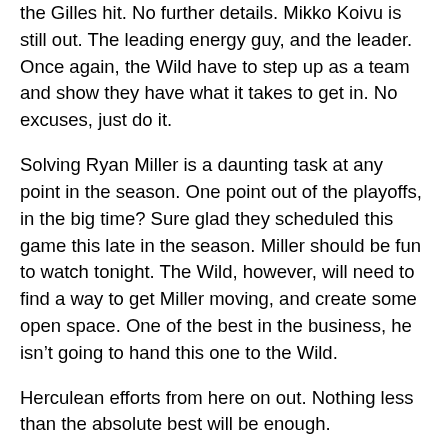the Gilles hit. No further details. Mikko Koivu is still out. The leading energy guy, and the leader. Once again, the Wild have to step up as a team and show they have what it takes to get in. No excuses, just do it.
Solving Ryan Miller is a daunting task at any point in the season. One point out of the playoffs, in the big time? Sure glad they scheduled this game this late in the season. Miller should be fun to watch tonight. The Wild, however, will need to find a way to get Miller moving, and create some open space. One of the best in the business, he isn't going to hand this one to the Wild.
Herculean efforts from here on out. Nothing less than the absolute best will be enough.